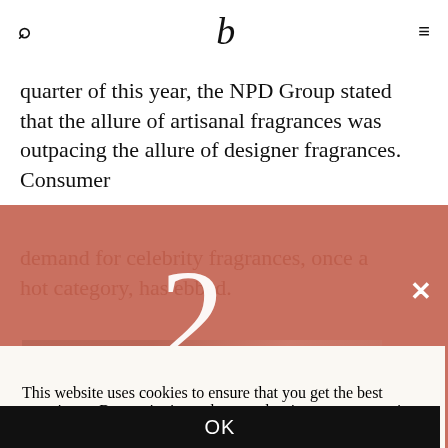b (logo)
quarter of this year, the NPD Group stated that the allure of artisanal fragrances was outpacing the allure of designer fragrances. Consumer demand for celebrity fragrances, once a hot category, has ebbed.
This website uses cookies to ensure that you get the best experience. By continuing to browse the site you are agreeing to our use of cookies.  Learn More
OK